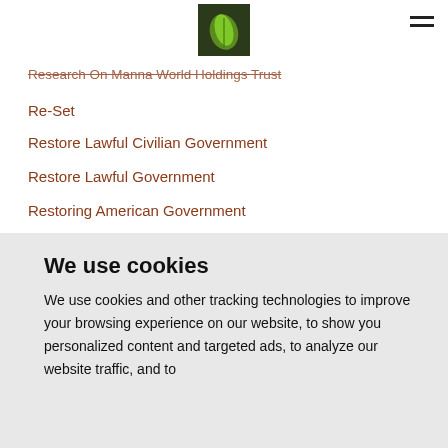[Figure (logo): Green leaf logo image in a dark square frame]
Research On Manna World Holdings Trust
Re-Set
Restore Lawful Civilian Government
Restore Lawful Government
Restoring American Government
Restoring Lawful Government
Revoke "election To Pay"
Richmond
Rip Off
We use cookies
We use cookies and other tracking technologies to improve your browsing experience on our website, to show you personalized content and targeted ads, to analyze our website traffic, and to